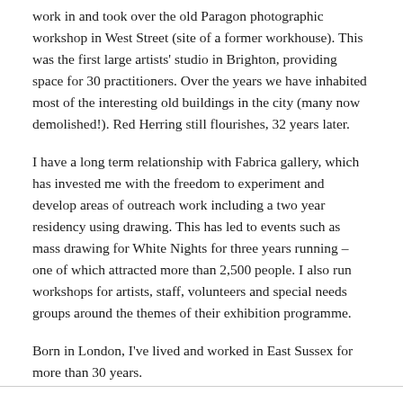work in and took over the old Paragon photographic workshop in West Street (site of a former workhouse). This was the first large artists' studio in Brighton, providing space for 30 practitioners. Over the years we have inhabited most of the interesting old buildings in the city (many now demolished!). Red Herring still flourishes, 32 years later.
I have a long term relationship with Fabrica gallery, which has invested me with the freedom to experiment and develop areas of outreach work including a two year residency using drawing. This has led to events such as mass drawing for White Nights for three years running – one of which attracted more than 2,500 people. I also run workshops for artists, staff, volunteers and special needs groups around the themes of their exhibition programme.
Born in London, I've lived and worked in East Sussex for more than 30 years.